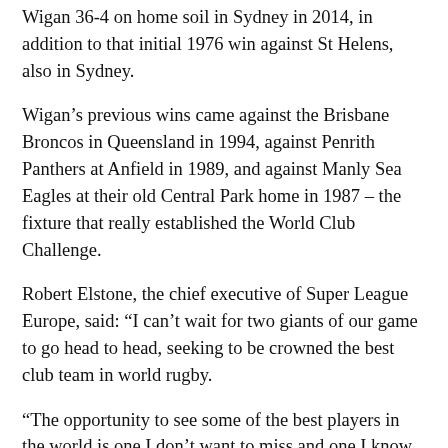Wigan 36-4 on home soil in Sydney in 2014, in addition to that initial 1976 win against St Helens, also in Sydney.
Wigan's previous wins came against the Brisbane Broncos in Queensland in 1994, against Penrith Panthers at Anfield in 1989, and against Manly Sea Eagles at their old Central Park home in 1987 – the fixture that really established the World Club Challenge.
Robert Elstone, the chief executive of Super League Europe, said: “I can’t wait for two giants of our game to go head to head, seeking to be crowned the best club team in world rugby.
“The opportunity to see some of the best players in the world is one I don’t want to miss and one I know all our fans will relish.